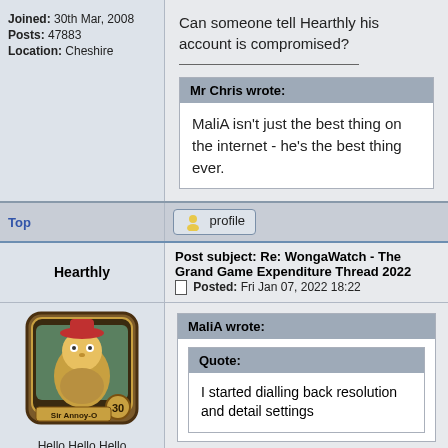Joined: 30th Mar, 2008
Posts: 47883
Location: Cheshire
Can someone tell Hearthly his account is compromised?
Mr Chris wrote: MaliA isn't just the best thing on the internet - he's the best thing ever.
Top
profile
Post subject: Re: WongaWatch - The Grand Game Expenditure Thread 2022
Posted: Fri Jan 07, 2022 18:22
Hearthly
[Figure (illustration): Game avatar image - Hearthstone card art showing a character, Sir Annoy-O with number 30]
Hello Hello Hello
MaliA wrote: Quote: I started dialling back resolution and detail settings